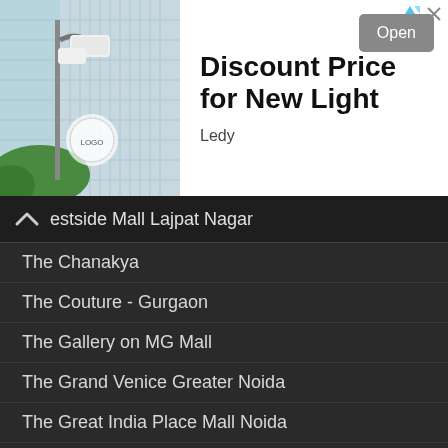[Figure (photo): Advertisement banner showing street lighting product with outdoor lamp on pole against building background]
Discount Price for New Light
Ledy
Open
estside Mall Lajpat Nagar
The Chanakya
The Couture - Gurgaon
The Gallery on MG Mall
The Grand Venice Greater Noida
The Great India Place Mall Noida
The Opulent Mall Ghaziabad
Unity One Janakpuri
Unity One Mall Rohini
V3S East Centre Mall Laxmi Nagar
V3S Mall Vikas Marg
Vasant Square Mall Vasant Kunj